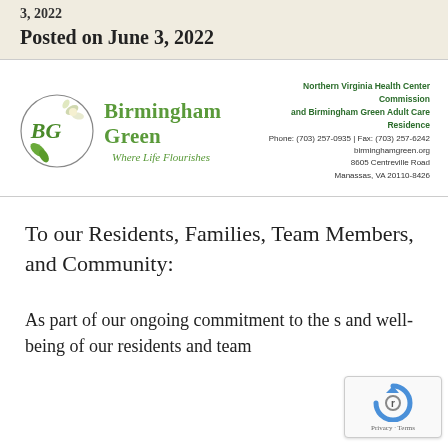3, 2022
Posted on June 3, 2022
[Figure (logo): Birmingham Green logo with circular emblem containing BG initials and flower, green text reading 'Birmingham Green' and italic slogan 'Where Life Flourishes']
Northern Virginia Health Center Commission and Birmingham Green Adult Care Residence
Phone: (703) 257-0935 | Fax: (703) 257-6242
birminghamgreen.org
8605 Centreville Road
Manassas, VA 20110-8426
To our Residents, Families, Team Members, and Community:
As part of our ongoing commitment to the s and well-being of our residents and team